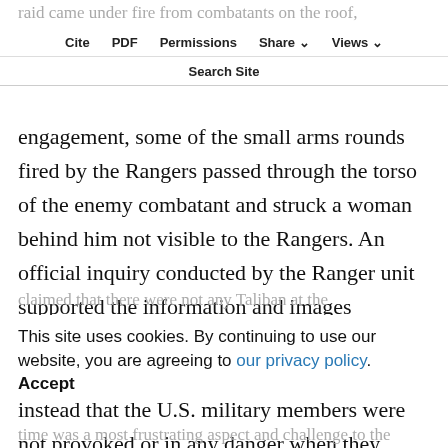Cite  PDF  Permissions  Share  Views  Search Site
raid came under fire from combatants on the roof, and they responded with well-aimed fire at the combatants engaging them. In the course of this engagement, some of the small arms rounds fired by the Rangers passed through the torso of the enemy combatant and struck a woman behind him not visible to the Rangers. An official inquiry conducted by the Ranger unit supported the information and images collected on target. A subsequent Afghan presidential inquiry, however, concluded instead that the U.S. military members were not provoked or in any danger when they killed multiple women and children and even
claimed that there were not any Taliban at the residence where the civilians were killed. This type of disinformation from the Afghan government at that time was a most frustrating aspect and challenge to the
This site uses cookies. By continuing to use our website, you are agreeing to our privacy policy. Accept